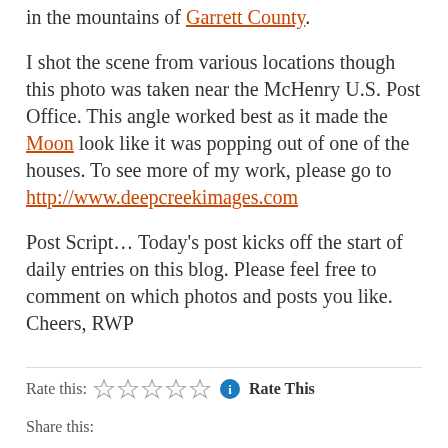in the mountains of Garrett County.
I shot the scene from various locations though this photo was taken near the McHenry U.S. Post Office. This angle worked best as it made the Moon look like it was popping out of one of the houses. To see more of my work, please go to http://www.deepcreekimages.com
Post Script... Today's post kicks off the start of daily entries on this blog. Please feel free to comment on which photos and posts you like. Cheers, RWP
Rate this: ☆☆☆☆☆ Rate This
Share this: